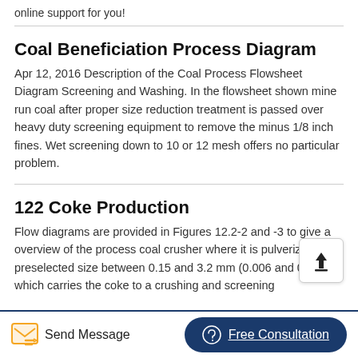online support for you!
Coal Beneficiation Process Diagram
Apr 12, 2016 Description of the Coal Process Flowsheet Diagram Screening and Washing. In the flowsheet shown mine run coal after proper size reduction treatment is passed over heavy duty screening equipment to remove the minus 1/8 inch fines. Wet screening down to 10 or 12 mesh offers no particular problem.
122 Coke Production
Flow diagrams are provided in Figures 12.2-2 and -3 to give a overview of the process coal crusher where it is pulverized to preselected size between 0.15 and 3.2 mm (0.006 and 0.13 in.). which carries the coke to a crushing and screening
Send Message | Free Consultation